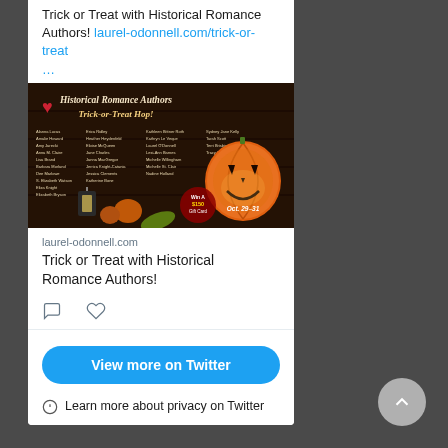Trick or Treat with Historical Romance Authors! laurel-odonnell.com/trick-or-treat …
[Figure (photo): Historical Romance Authors Trick-or-Treat Hop promotional banner with a glowing jack-o-lantern, pumpkins, lantern, and author names listed. Text says Win A $150 Gift Card, Oct. 29-31]
laurel-odonnell.com
Trick or Treat with Historical Romance Authors!
View more on Twitter
Learn more about privacy on Twitter